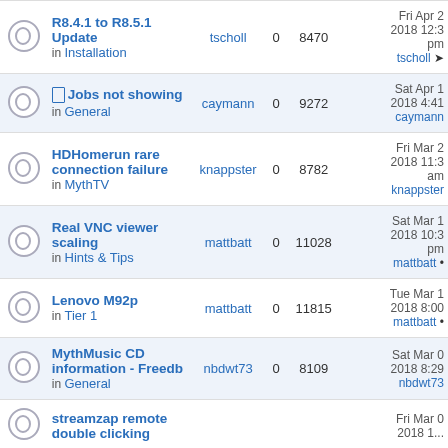|  | Topic | Author | Replies | Views | Last post |
| --- | --- | --- | --- | --- | --- |
|  | R8.4.1 to R8.5.1 Update in Installation | tscholl | 0 | 8470 | Fri Apr 2 2018 12:... pm tscholl |
| 📎 | Jobs not showing in General | caymann | 0 | 9272 | Sat Apr 1 2018 4:41 caymann |
|  | HDHomerun rare connection failure in MythTV | knappster | 0 | 8782 | Fri Mar 2 2018 11:... am knappster |
|  | Real VNC viewer scaling in Hints & Tips | mattbatt | 0 | 11028 | Sat Mar 1 2018 10:... pm mattbatt |
|  | Lenovo M92p in Tier 1 | mattbatt | 0 | 11815 | Tue Mar 1 2018 8:00 mattbatt |
|  | MythMusic CD information - Freedb in General | nbdwt73 | 0 | 8109 | Sat Mar 0 2018 8:29 nbdwt73 |
|  | streamzap remote double clicking |  |  |  | Fri Mar 0 2018 1... |